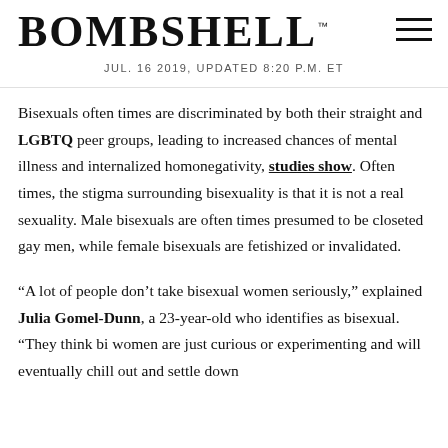BOMBSHELL — JUL. 16 2019, UPDATED 8:20 P.M. ET
Bisexuals often times are discriminated by both their straight and LGBTQ peer groups, leading to increased chances of mental illness and internalized homonegativity, studies show. Often times, the stigma surrounding bisexuality is that it is not a real sexuality. Male bisexuals are often times presumed to be closeted gay men, while female bisexuals are fetishized or invalidated.
“A lot of people don’t take bisexual women seriously,” explained Julia Gomel-Dunn, a 23-year-old who identifies as bisexual. “They think bi women are just curious or experimenting and will eventually chill out and settle down